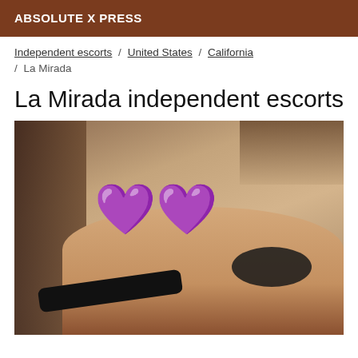ABSOLUTE X PRESS
Independent escorts / United States / California / La Mirada
La Mirada independent escorts
[Figure (photo): A photo with two purple heart emojis overlaid on top, partially obscuring the image content. The background shows a dimly lit scene with warm tan/brown tones.]